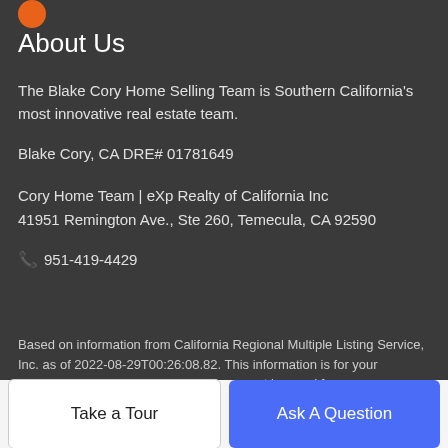[Figure (logo): Orange circle logo (partial) in top left corner]
About Us
The Blake Cory Home Selling Team is Southern California's most innovative real estate team.
Blake Cory, CA DRE# 01781649
Cory Home Team | eXp Realty of California Inc
41951 Remington Ave., Ste 260, Temecula, CA 92590
📞 951-419-4429
Based on information from California Regional Multiple Listing Service, Inc. as of 2022-08-29T00:26:08.82. This information is for your personal, non-commercial use and may not be used for any purpose other than to identify prospective properties you may be interested in purchasing. Display of MLS data is deemed reliable...